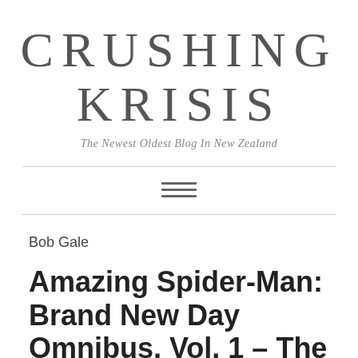CRUSHING KRISIS
The Newest Oldest Blog In New Zealand
Bob Gale
Amazing Spider-Man: Brand New Day Omnibus, Vol. 1 – The #51 Most-Wanted Marvel Omnibus of All T…